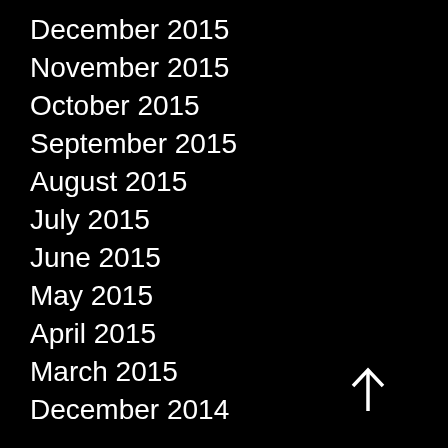December 2015
November 2015
October 2015
September 2015
August 2015
July 2015
June 2015
May 2015
April 2015
March 2015
December 2014
[Figure (illustration): White upward-pointing arrow icon in bottom-right area]